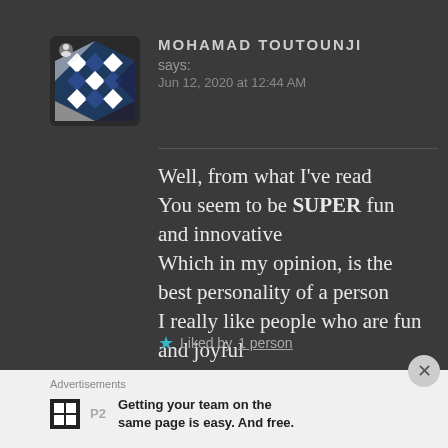[Figure (illustration): User avatar with geometric blue and white diamond/triangle pattern on dark background with a small user icon overlay in top-left corner]
MOHAMAD TOUTOUNJI says: Jun 12, 2020 at 12:44 AM
Well, from what I've read You seem to be SUPER fun and innovative Which in my opinion, is the best personality of a person I really like people who are fun and joyful
★ Liked by 1 person
Advertisements
Getting your team on the same page is easy. And free.